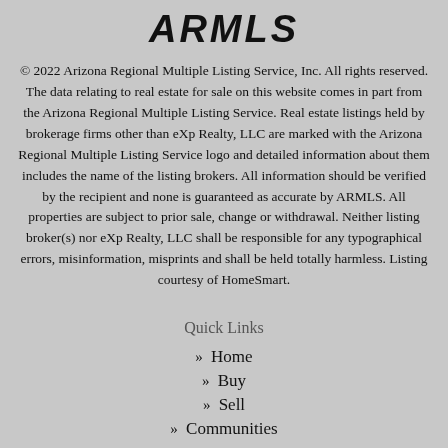[Figure (logo): ARMLS logo in bold italic black text]
© 2022 Arizona Regional Multiple Listing Service, Inc. All rights reserved. The data relating to real estate for sale on this website comes in part from the Arizona Regional Multiple Listing Service. Real estate listings held by brokerage firms other than eXp Realty, LLC are marked with the Arizona Regional Multiple Listing Service logo and detailed information about them includes the name of the listing brokers. All information should be verified by the recipient and none is guaranteed as accurate by ARMLS. All properties are subject to prior sale, change or withdrawal. Neither listing broker(s) nor eXp Realty, LLC shall be responsible for any typographical errors, misinformation, misprints and shall be held totally harmless. Listing courtesy of HomeSmart.
Quick Links
Home
Buy
Sell
Communities